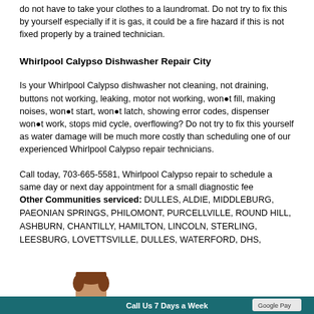do not have to take your clothes to a laundromat. Do not try to fix this by yourself especially if it is gas, it could be a fire hazard if this is not fixed properly by a trained technician.
Whirlpool Calypso Dishwasher Repair City
Is your Whirlpool Calypso dishwasher not cleaning, not draining, buttons not working, leaking, motor not working, won�t fill, making noises, won�t start, won�t latch, showing error codes, dispenser won�t work, stops mid cycle, overflowing? Do not try to fix this yourself as water damage will be much more costly than scheduling one of our experienced Whirlpool Calypso repair technicians.
Call today, 703-665-5581, Whirlpool Calypso repair to schedule a same day or next day appointment for a small diagnostic fee
Other Communities serviced: DULLES, ALDIE, MIDDLEBURG, PAEONIAN SPRINGS, PHILOMONT, PURCELLVILLE, ROUND HILL, ASHBURN, CHANTILLY, HAMILTON, LINCOLN, STERLING, LEESBURG, LOVETTSVILLE, DULLES, WATERFORD, DHS,
[Figure (photo): Partial view of a woman's head with brown hair, and a teal/dark cyan banner at the bottom of the page with partial text and a button visible.]